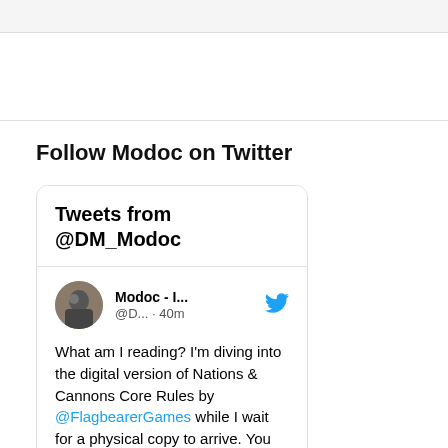Follow Modoc on Twitter
[Figure (screenshot): Twitter widget showing tweets from @DM_Modoc. A tweet by 'Modoc - I...' (@D... · 40m) reads: 'What am I reading? I'm diving into the digital version of Nations & Cannons Core Rules by @FlagbearerGames while I wait for a physical copy to arrive. You can check out the Nations and Cannons: Starter Rules for free!']